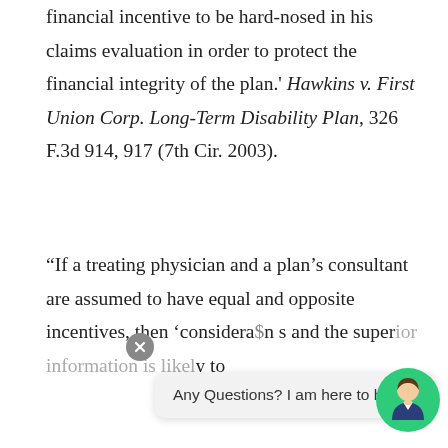financial incentive to be hard-nosed in his claims evaluation in order to protect the financial integrity of the plan.' Hawkins v. First Union Corp. Long-Term Disability Plan, 326 F.3d 914, 917 (7th Cir. 2003).
“If a treating physician and a plan’s consultant are assumed to have equal and opposite incentives, then ‘consideration’ [of the bonus] as and the superior information is likely to